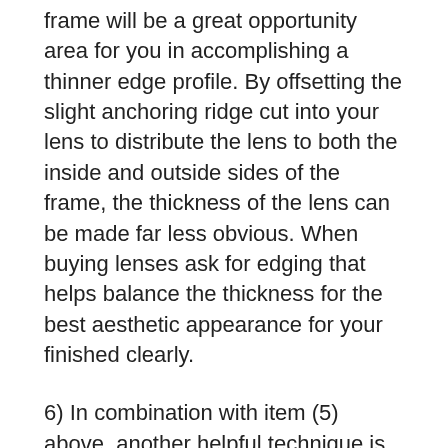frame will be a great opportunity area for you in accomplishing a thinner edge profile. By offsetting the slight anchoring ridge cut into your lens to distribute the lens to both the inside and outside sides of the frame, the thickness of the lens can be made far less obvious. When buying lenses ask for edging that helps balance the thickness for the best aesthetic appearance for your finished clearly.
6) In combination with item (5) above, another helpful technique is referred to as edge painting. Basically the thick lens edge common in nearsighted Rx's is painted or stained with a color that matches the basic frame material and along